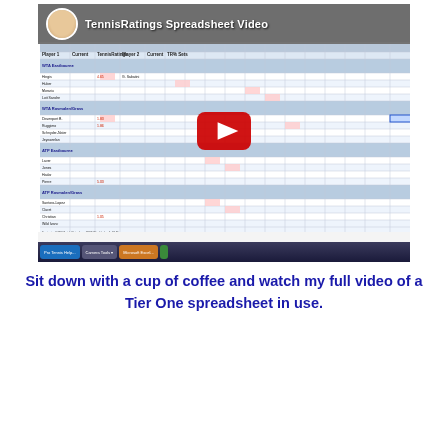[Figure (screenshot): Screenshot of a YouTube video thumbnail showing a bald man's avatar and the title 'TennisRatings Spreadsheet Video' over a spreadsheet with tennis rating data. A large red YouTube play button is centered over the spreadsheet screenshot.]
Sit down with a cup of coffee and watch my full video of a Tier One spreadsheet in use.